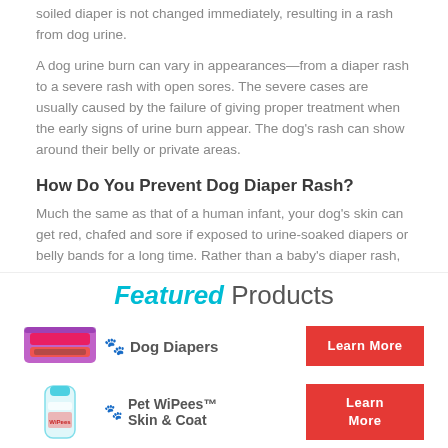soiled diaper is not changed immediately, resulting in a rash from dog urine.
A dog urine burn can vary in appearances—from a diaper rash to a severe rash with open sores. The severe cases are usually caused by the failure of giving proper treatment when the early signs of urine burn appear. The dog's rash can show around their belly or private areas.
How Do You Prevent Dog Diaper Rash?
Much the same as that of a human infant, your dog's skin can get red, chafed and sore if exposed to urine-soaked diapers or belly bands for a long time. Rather than a baby's diaper rash, this is a puppy diaper rash. And one simple thing
[Figure (infographic): Featured Products banner with Dog Diapers and Pet WiPees Skin & Coat products, each with a Learn More button.]